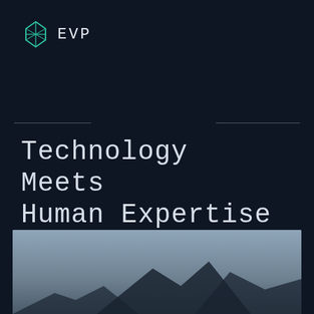[Figure (logo): EVP logo: teal geometric diamond/gem icon with the text EVP in monospace]
Technology Meets Human Expertise
[Figure (photo): Outdoor photo showing a dark angular structure or building against a grey-blue overcast sky, partially visible at bottom of page]